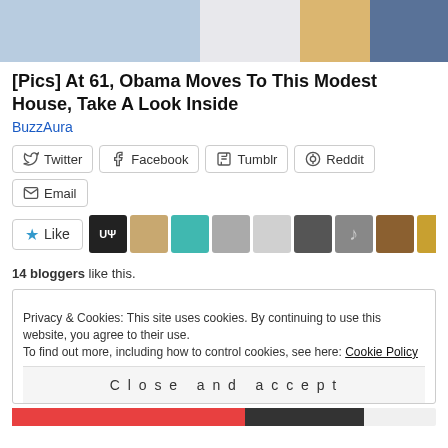[Figure (photo): Cropped photo at the top showing partial people figures, blue and orange colors visible]
[Pics] At 61, Obama Moves To This Modest House, Take A Look Inside
BuzzAura
Twitter  Facebook  Tumblr  Reddit  Email
14 bloggers like this.
Privacy & Cookies: This site uses cookies. By continuing to use this website, you agree to their use.
To find out more, including how to control cookies, see here: Cookie Policy
Close and accept